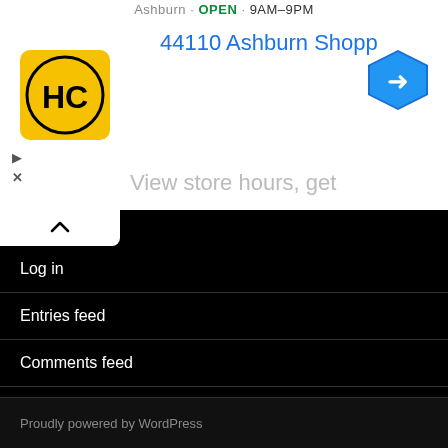[Figure (screenshot): Ad banner showing HC (Harris County) logo, navigation arrow icon, address text '44110 Ashburn Shopping Plaza 1.' in blue, store hours partial text 'Ashburn · OPEN · 9AM–9PM', and 'View store hours, get' in gray. Play and close buttons visible on left side.]
Log in
Entries feed
Comments feed
WordPress.org
Proudly powered by WordPress